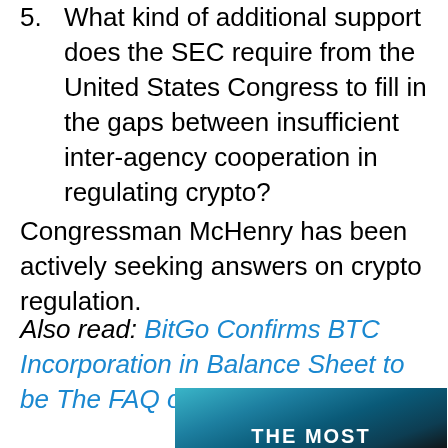5. What kind of additional support does the SEC require from the United States Congress to fill in the gaps between insufficient inter-agency cooperation in regulating crypto?
Congressman McHenry has been actively seeking answers on crypto regulation.
Also read: BitGo Confirms BTC Incorporation in Balance Sheet to be The FAQ of Corporations
[Figure (photo): Partial image of a dark teal/blue underwater or abstract scene with text 'THE MOST' visible at the bottom]